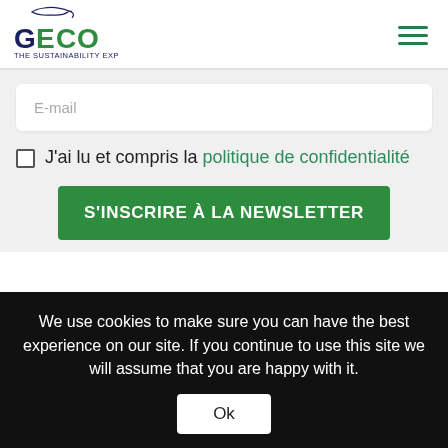[Figure (logo): GECO THE SUSTAINABILITY EXPO logo with stylized fish/leaf graphic above the text]
E-mail
J'ai lu et compris la politique de confidentialité
S'INSCRIRE À LA NEWSLETTER
We use cookies to make sure you can have the best experience on our site. If you continue to use this site we will assume that you are happy with it.
Ok